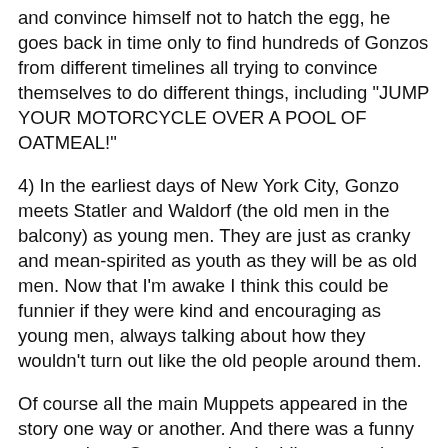and convince himself not to hatch the egg, he goes back in time only to find hundreds of Gonzos from different timelines all trying to convince themselves to do different things, including "JUMP YOUR MOTORCYCLE OVER A POOL OF OATMEAL!"
4) In the earliest days of New York City, Gonzo meets Statler and Waldorf (the old men in the balcony) as young men. They are just as cranky and mean-spirited as youth as they will be as old men. Now that I'm awake I think this could be funnier if they were kind and encouraging as young men, always talking about how they wouldn't turn out like the old people around them.
Of course all the main Muppets appeared in the story one way or another. And there was a funny scene where Gonzo attached a bike cart to the time travelling bike and pedaled the entire cast into the past, straining to go fast enough to trigger the time travel device.
All in all, it was fine dream and was pretty much the equivalent of watching a Muppet movie that hasn't yet been